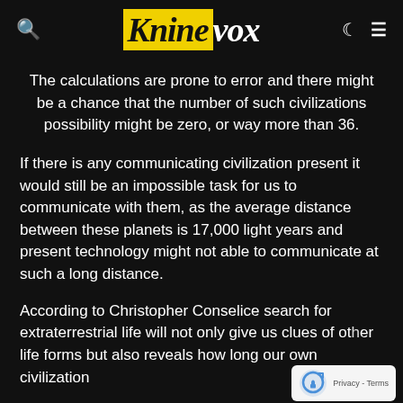Kninevox
The calculations are prone to error and there might be a chance that the number of such civilizations possibility might be zero, or way more than 36.
If there is any communicating civilization present it would still be an impossible task for us to communicate with them, as the average distance between these planets is 17,000 light years and present technology might not able to communicate at such a long distance.
According to Christopher Conselice search for extraterrestrial life will not only give us clues of other life forms but also reveals how long our own civilization